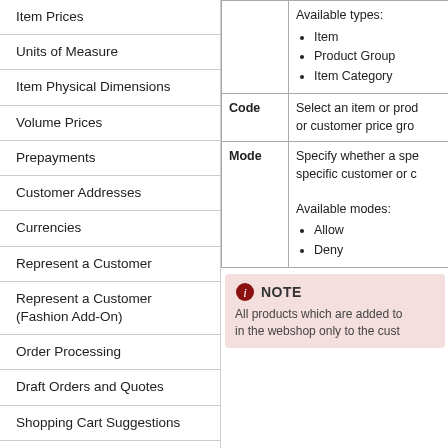Item Prices
Units of Measure
Item Physical Dimensions
Volume Prices
Prepayments
Customer Addresses
Currencies
Represent a Customer
Represent a Customer (Fashion Add-On)
Order Processing
Draft Orders and Quotes
Shopping Cart Suggestions
Item and Sales Order Attachments
Sales Reports
Shipping Agents and Services
| Field | Description |
| --- | --- |
|  | Available types:
Item
Product Group
Item Category |
| Code | Select an item or prod... or customer price gro... |
| Mode | Specify whether a spe... specific customer or c...
Available modes:
Allow
Deny |
NOTE
All products which are added to... in the webshop only to the cust...